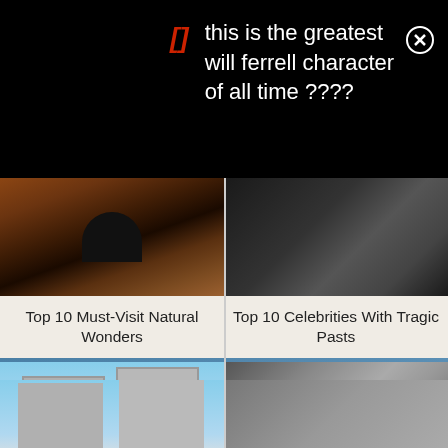this is the greatest will ferrell character of all time ????
[Figure (photo): Top 10 Must-Visit Natural Wonders - dark cave or natural rock formation image]
Top 10 Must-Visit Natural Wonders
[Figure (photo): Top 10 Celebrities With Tragic Pasts - close up of man in hat]
Top 10 Celebrities With Tragic Pasts
[Figure (illustration): Cartoon showing two tall buildings against blue sky]
[Figure (photo): Man with glasses holding a sandwich, smiling]